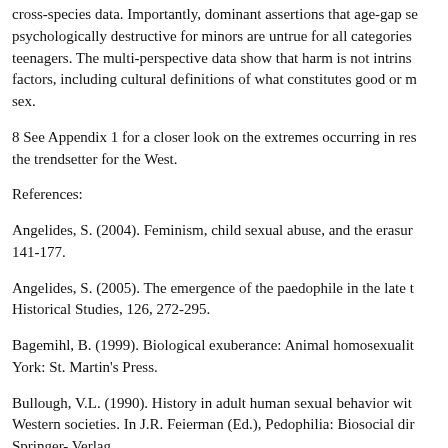cross-species data. Importantly, dominant assertions that age-gap se psychologically destructive for minors are untrue for all categories teenagers. The multi-perspective data show that harm is not intrins factors, including cultural definitions of what constitutes good or m sex.
8 See Appendix 1 for a closer look on the extremes occurring in res the trendsetter for the West.
References:
Angelides, S. (2004). Feminism, child sexual abuse, and the erasur 141-177.
Angelides, S. (2005). The emergence of the paedophile in the late t Historical Studies, 126, 272-295.
Bagemihl, B. (1999). Biological exuberance: Animal homosexualit York: St. Martin's Press.
Bullough, V.L. (1990). History in adult human sexual behavior wit Western societies. In J.R. Feierman (Ed.), Pedophilia: Biosocial dir Springer- Verlag.